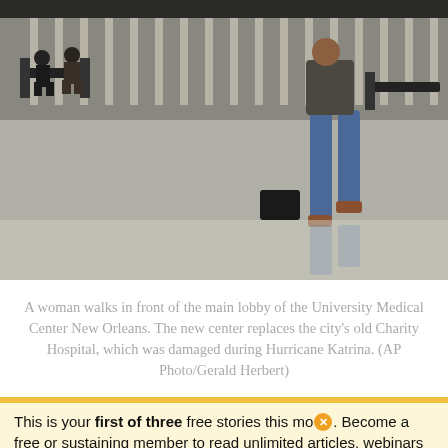[Figure (photo): Interior of University Medical Center New Orleans main lobby. Several people are seated on benches in a bright, modern atrium with large windows. A woman in jeans is walking across the shiny reflective floor in the foreground.]
A woman walks in front of the main lobby of the University Medical Center New Orleans. The new center replaces the city's old Charity Hospital, which was damaged during Hurricane Katrina. (AP Photo/Gerald Herbert)
This is your first of three free stories this month. Become a free or sustaining member to read unlimited articles, webinars and ebooks.